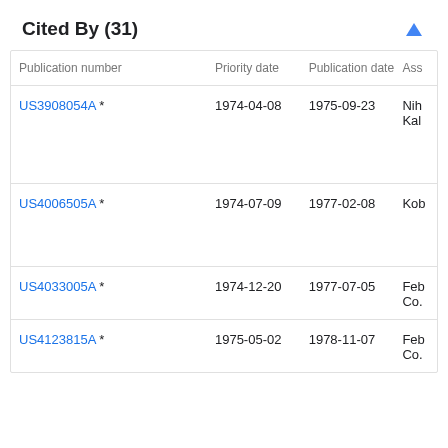Cited By (31)
| Publication number | Priority date | Publication date | Ass |
| --- | --- | --- | --- |
| US3908054A * | 1974-04-08 | 1975-09-23 | Nih
Kal |
| US4006505A * | 1974-07-09 | 1977-02-08 | Kob |
| US4033005A * | 1974-12-20 | 1977-07-05 | Feb
Co. |
| US4123815A * | 1975-05-02 | 1978-11-07 | Feb
Co. |